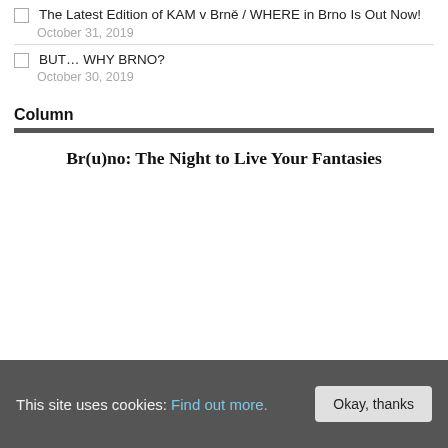The Latest Edition of KAM v Brně / WHERE in Brno Is Out Now!
October 31, 2019
BUT… WHY BRNO?
October 30, 2019
Column
Br(u)no: The Night to Live Your Fantasies
This site uses cookies: Find out more. [Okay, thanks]